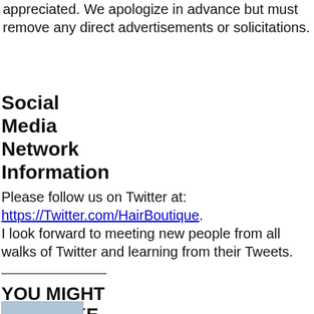appreciated. We apologize in advance but must remove any direct advertisements or solicitations.
Social Media Network Information
Please follow us on Twitter at: https://Twitter.com/HairBoutique. I look forward to meeting new people from all walks of Twitter and learning from their Tweets.
YOU MIGHT ALSO LIKE ...
[Figure (photo): Thumbnail image preview]